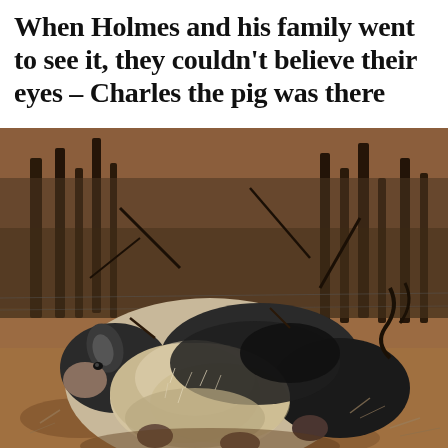When Holmes and his family went to see it, they couldn't believe their eyes – Charles the pig was there
[Figure (photo): A large black and white pig lying on reddish-brown dirt ground surrounded by burnt, charred tree trunks and scorched earth, consistent with a bushfire aftermath scene.]